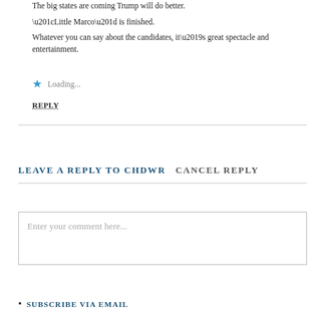The big states are coming Trump will do better.
“Little Marco” is finished.
Whatever you can say about the candidates, it’s great spectacle and entertainment.
★ Loading...
REPLY
LEAVE A REPLY TO CHDWR   CANCEL REPLY
Enter your comment here...
SUBSCRIBE VIA EMAIL